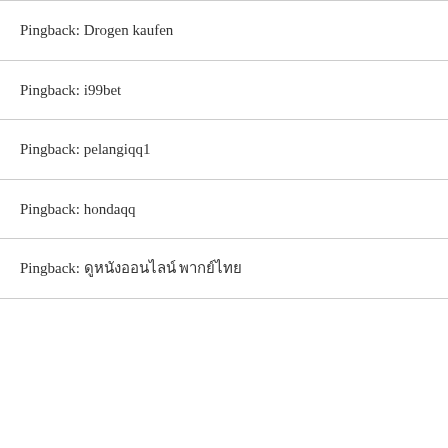Pingback: Drogen kaufen
Pingback: i99bet
Pingback: pelangiqq1
Pingback: hondaqq
Pingback: ดูหนังออนไลน์ พากย์ไทย